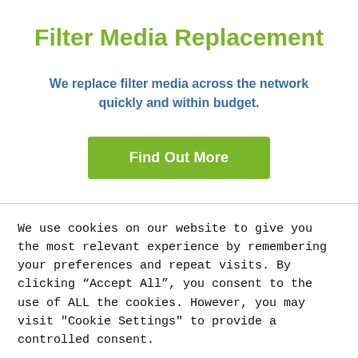Filter Media Replacement
We replace filter media across the network quickly and within budget.
Find Out More
We use cookies on our website to give you the most relevant experience by remembering your preferences and repeat visits. By clicking “Accept All”, you consent to the use of ALL the cookies. However, you may visit “Cookie Settings” to provide a controlled consent.
Cookie Settings
Accept All